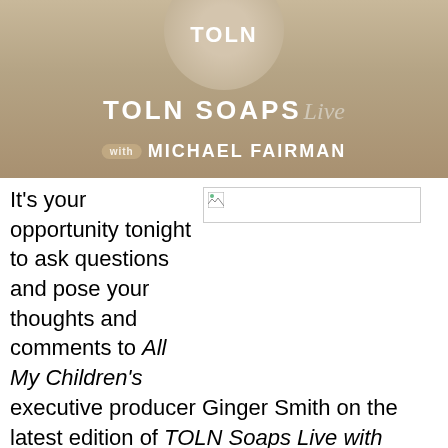[Figure (logo): TOLN Soaps Live with Michael Fairman banner logo. Gradient beige-brown background with TOLN circle logo at top, 'TOLN SOAPS Live' text in white and italic script, and 'with MICHAEL FAIRMAN' below.]
[Figure (photo): Broken/missing image placeholder in right column]
It's your opportunity tonight to ask questions and pose your thoughts and comments to All My Children's executive producer Ginger Smith on the latest edition of TOLN Soaps Live with Michael Fairman on the